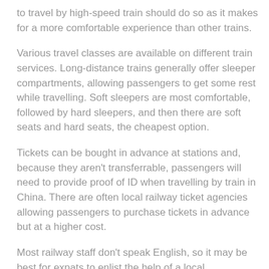to travel by high-speed train should do so as it makes for a more comfortable experience than other trains.
Various travel classes are available on different train services. Long-distance trains generally offer sleeper compartments, allowing passengers to get some rest while travelling. Soft sleepers are most comfortable, followed by hard sleepers, and then there are soft seats and hard seats, the cheapest option.
Tickets can be bought in advance at stations and, because they aren't transferrable, passengers will need to provide proof of ID when travelling by train in China. There are often local railway ticket agencies allowing passengers to purchase tickets in advance but at a higher cost.
Most railway staff don't speak English, so it may be best for expats to enlist the help of a local acquaintance when buying tickets. Expats should also take note that tickets sell out rapidly during national holidays and festivals